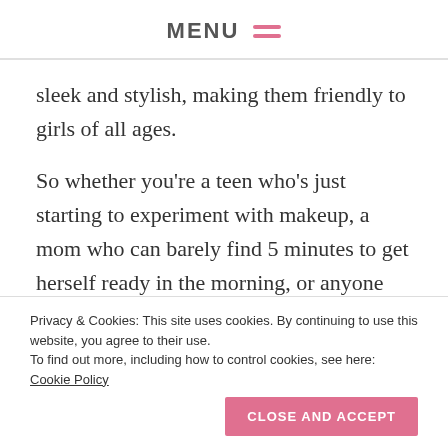MENU
sleek and stylish, making them friendly to girls of all ages.
So whether you're a teen who's just starting to experiment with makeup, a mom who can barely find 5 minutes to get herself ready in the morning, or anyone that appreciates looking polished with minimal effort. Nudestix may be a brand you
Privacy & Cookies: This site uses cookies. By continuing to use this website, you agree to their use.
To find out more, including how to control cookies, see here: Cookie Policy
CLOSE AND ACCEPT